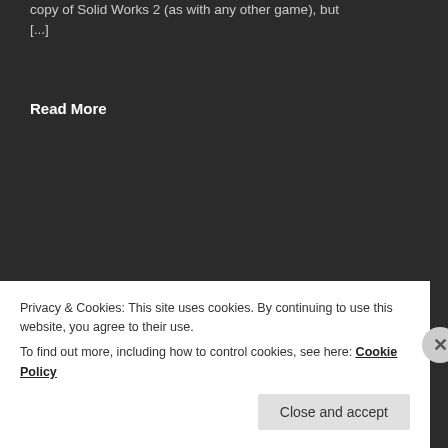copy of Solid Works 2 (as with any other game), but [...]
Read More
SWTOR – FREE WEEKENDS!
Bioware and EA have announced that Star Wars:
Privacy & Cookies: This site uses cookies. By continuing to use this website, you agree to their use.
To find out more, including how to control cookies, see here: Cookie Policy
Close and accept